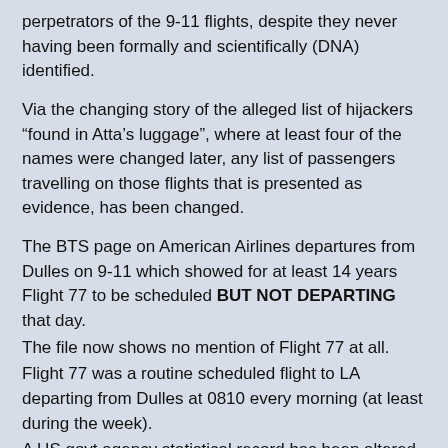perpetrators of the 9-11 flights, despite they never having been formally and scientifically (DNA) identified.
Via the changing story of the alleged list of hijackers “found in Atta’s luggage”, where at least four of the names were changed later, any list of passengers travelling on those flights that is presented as evidence, has been changed.
The BTS page on American Airlines departures from Dulles on 9-11 which showed for at least 14 years Flight 77 to be scheduled BUT NOT DEPARTING that day.
The file now shows no mention of Flight 77 at all.
Flight 77 was a routine scheduled flight to LA departing from Dulles at 0810 every morning (at least during the week).
A US govt agency statistical record has been altered.
Regarding the video. There are many professionals who have risked their reputations by simply demanding that another enquiry that permits solid evidence to be presented be held, including Air Transport pilots, trained to the highest level possible of airmanship, and who also have put their reputations on the line because their